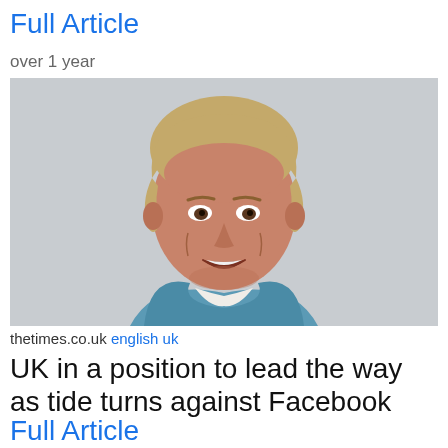Full Article
over 1 year
[Figure (photo): Headshot of a middle-aged man with medium-length blonde/brown hair, smiling, wearing a light blue jacket, against a grey background.]
thetimes.co.uk english uk
UK in a position to lead the way as tide turns against Facebook
Full Article
over 1 year